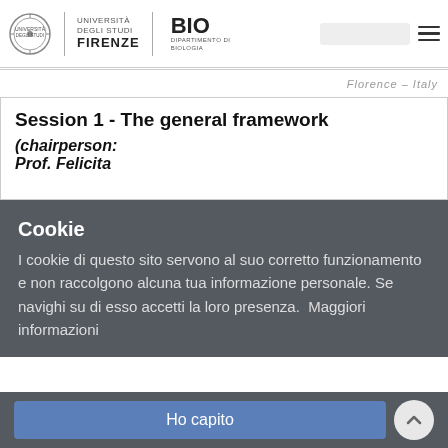Università degli Studi Firenze – BIO Dipartimento di Biologia
Florence – Italy
Session 1 - The general framework
(chairperson:
Prof. Felicita
Cookie
I cookie di questo sito servono al suo corretto funzionamento e non raccolgono alcuna tua informazione personale. Se navighi su di esso accetti la loro presenza.  Maggiori informazioni
Ho capito